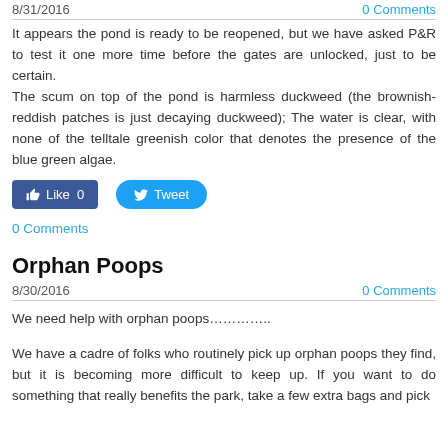8/31/2016
0 Comments
It appears the pond is ready to be reopened, but we have asked P&R to test it one more time before the gates are unlocked, just to be certain.
The scum on top of the pond is harmless duckweed (the brownish-reddish patches is just decaying duckweed); The water is clear, with none of the telltale greenish color that denotes the presence of the blue green algae.
[Figure (other): Facebook Like button (0 likes) and Twitter Tweet button]
0 Comments
Orphan Poops
8/30/2016
0 Comments
We need help with orphan poops…………..
We have a cadre of folks who routinely pick up orphan poops they find, but it is becoming more difficult to keep up. If you want to do something that really benefits the park, take a few extra bags and pick